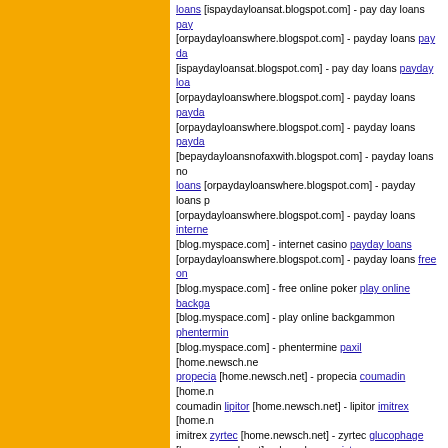loans [ispaydayloansat.blogspot.com] - pay day loans payday [orpaydayloanswhere.blogspot.com] - payday loans pay da [ispaydayloansat.blogspot.com] - pay day loans payday loa [orpaydayloanswhere.blogspot.com] - payday loans payda [orpaydayloanswhere.blogspot.com] - payday loans payda [bepaydayloansnofaxwith.blogspot.com] - payday loans no loans [orpaydayloanswhere.blogspot.com] - payday loans p [orpaydayloanswhere.blogspot.com] - payday loans interne [blog.myspace.com] - internet casino payday loans [orpaydayloanswhere.blogspot.com] - payday loans free on [blog.myspace.com] - free online poker play online backga [blog.myspace.com] - play online backgammon phentermin [blog.myspace.com] - phentermine paxil [home.newsch.ne propecia [home.newsch.net] - propecia coumadin [home.n coumadin lipitor [home.newsch.net] - lipitor imitrex [home.n imitrex zyrtec [home.newsch.net] - zyrtec glucophage [home.newsch.net] - glucophage evista [home.newsch.net] hoodia [home.newsch.net] - hoodia synthroid [home.newsc synthroid The man who sets out to carry a cat by its tail lea something that will always be useful and which never will g doubtful. -- Mark Twain
title loans (Puntuación 1) por barbarawardd el (Información del Usuario | Enviar un Mensaje)
motorola ringtones [comportement.univ-paris13.fr:8080] - m ringtones internet poker [www.myallsaints.org] - internet po backgammon online [openembedded.objectis.net] - backga motorola ringtones [comportement.univ-paris13.fr:8080] - m ringtones bad credit loans [www.dutchaiboteam.nl] - bad cr online casino [www.mik.bme.hu] - online casino internet po [www.myallsaints.org] - internet poker title loans [www.xn-- natrlichegeburt-1vb.at] - title loans internet casino [ling.filtr.u internet casino poker online [www.education-observatories online nextel ringtones [fsv.dimi.uniud.it] - nextel ringtones [ online